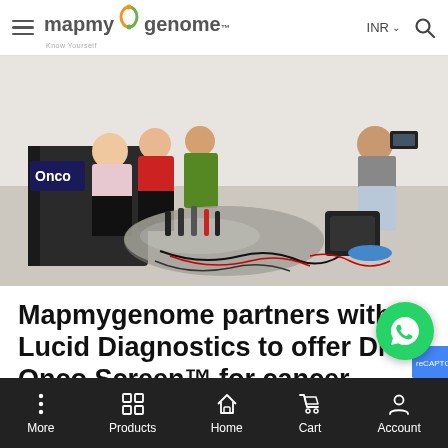mapmygenome Know Yourself | INR | Search
[Figure (photo): Press conference photo showing several people seated on sofas around a glass coffee table with microphones and cables, at what appears to be a media event for Lucid Diagnostics and Mapmygenome partnership.]
Mapmygenome partners with Lucid Diagnostics to offer DNA Onco Screen™ for cancer screening
HYDERABAD, February 21, 2019:  Lucid Diagnostics,
More | Products | Home | Cart | Account